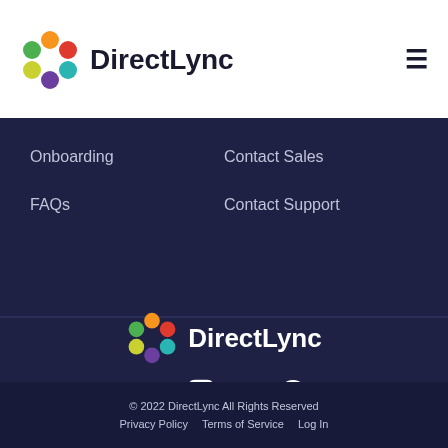[Figure (logo): DirectLync colorful flower/dots logo with company name]
Onboarding
Contact Sales
FAQs
Contact Support
[Figure (logo): DirectLync footer logo with colorful dots icon and white text]
[Figure (infographic): Social media icons: Twitter, Instagram, LinkedIn, Facebook]
© 2022 DirectLync All Rights Reserved
Privacy Policy   Terms of Service   Log In